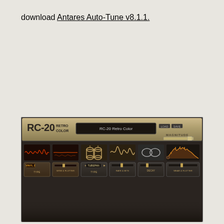download Antares Auto-Tune v8.1.1.
[Figure (screenshot): RC-20 Retro Color plugin interface showing the main header with logo, preset name 'RC-20 Retro Color', and Magnitude slider, plus the main control area with six effect sections: Vinyl (TYPE), Wow & Flutter, Tube (TUBEPAN), Noise (RATE/BITS), Decay, and Wear & Flutter, each with visual waveform icons and control sliders.]